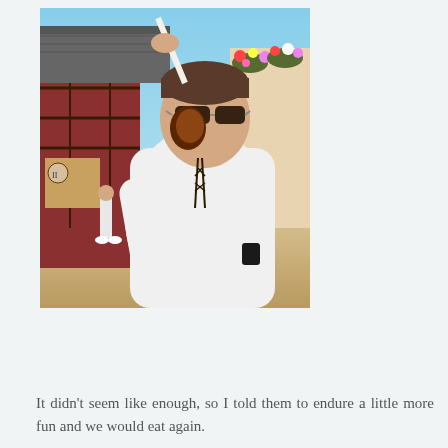[Figure (photo): A person wearing sunglasses and a white long-sleeve shirt eating a large turkey leg or roasted meat on a stick, standing outdoors in front of a Tudor-style building with hanging flower baskets. Background shows a Renaissance fair or similar outdoor festival setting.]
It didn't seem like enough, so I told them to endure a little more fun and we would eat again.